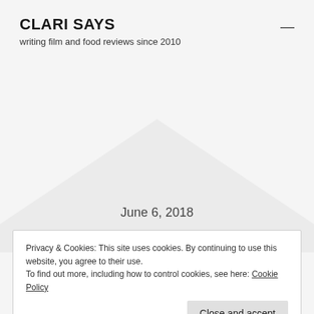CLARI SAYS
writing film and food reviews since 2010
[Figure (illustration): Light grey triangle/diamond shape centered on page background]
June 6, 2018
Privacy & Cookies: This site uses cookies. By continuing to use this website, you agree to their use.
To find out more, including how to control cookies, see here: Cookie Policy
(2008)